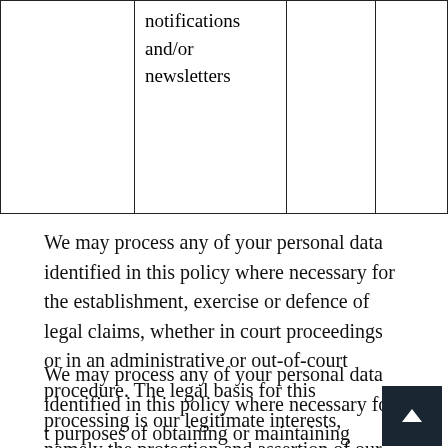|  | notifications and/or newsletters |  |  |
We may process any of your personal data identified in this policy where necessary for the establishment, exercise or defence of legal claims, whether in court proceedings or in an administrative or out-of-court procedure. The legal basis for this processing is our legitimate interests, namely the protection and assertion of our legal rights, your legal rights and the legal rights of others.
We may process any of your personal data identified in this policy where necessary for the purposes of obtaining or maintaining insurance coverage, managing risks, or obtaining